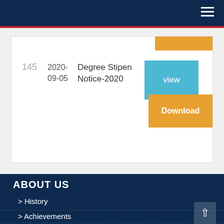Navigation header with hamburger menu
| # | Date | Title | Actions |
| --- | --- | --- | --- |
| 145 | 2020-09-05 | Degree Stipen Notice-2020 | view | Download |
ABOUT US
> History
> Achievements
ACADEMIC